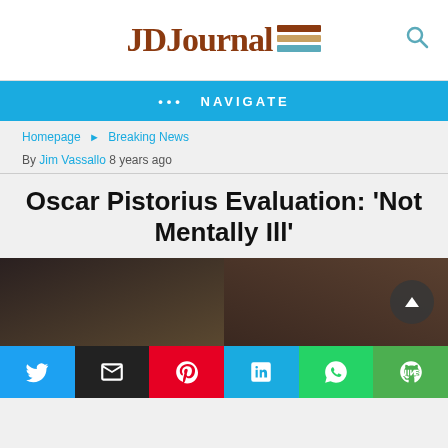JDJournal
••• NAVIGATE
Homepage ▶ Breaking News
By Jim Vassallo 8 years ago
Oscar Pistorius Evaluation: 'Not Mentally Ill'
[Figure (photo): Photo of a woman and a man (Oscar Pistorius) side by side]
[Figure (infographic): Social share buttons: Twitter, Email, Pinterest, LinkedIn, WhatsApp, Line]